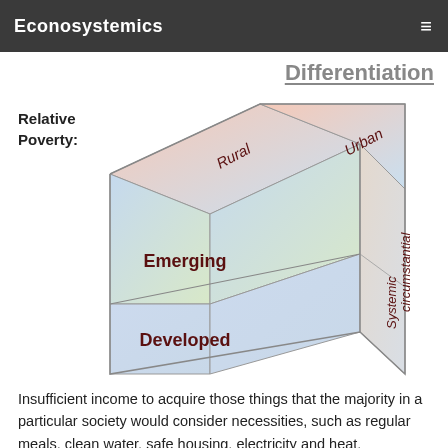Econosystemics
Differentiation
Relative Poverty:
[Figure (infographic): 3D cube diagram showing axes of Rural/Urban (top faces), Emerging/Developed (front face vertical), and Systemic/Circumstantial (right face vertical). The cube represents a classification framework for relative poverty.]
Insufficient income to acquire those things that the majority in a particular society would consider necessities, such as regular meals, clean water, safe housing, electricity and heat,